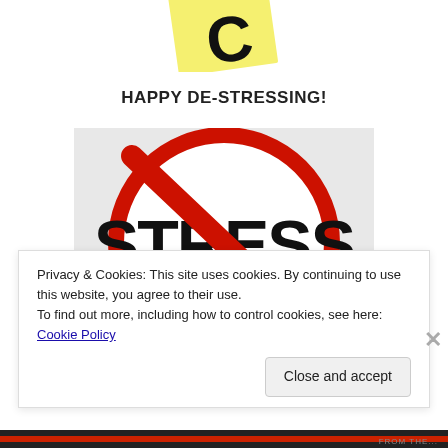[Figure (illustration): Partial view of a yellow sticky note or sign at the top of the page with a partial letter visible]
HAPPY DE-STRESSING!
[Figure (photo): A no-stress sign: a circle with the word STRESS in bold black text crossed out by a red diagonal slash, similar to a prohibition sign]
Privacy & Cookies: This site uses cookies. By continuing to use this website, you agree to their use.
To find out more, including how to control cookies, see here: Cookie Policy
Close and accept